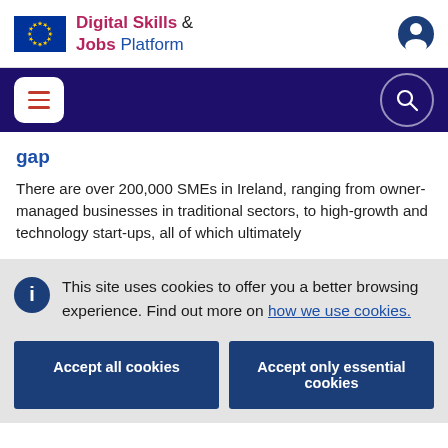Digital Skills & Jobs Platform
gap
There are over 200,000 SMEs in Ireland, ranging from owner-managed businesses in traditional sectors, to high-growth and technology start-ups, all of which ultimately
This site uses cookies to offer you a better browsing experience. Find out more on how we use cookies.
Accept all cookies | Accept only essential cookies